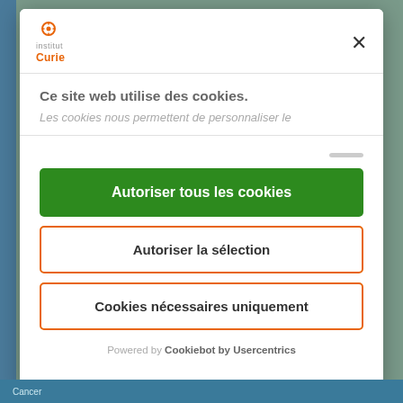[Figure (logo): Institut Curie logo — orange circular icon above text 'institut Curie']
Ce site web utilise des cookies.
Les cookies nous permettent de personnaliser le
Autoriser tous les cookies
Autoriser la sélection
Cookies nécessaires uniquement
Powered by Cookiebot by Usercentrics
Cancer